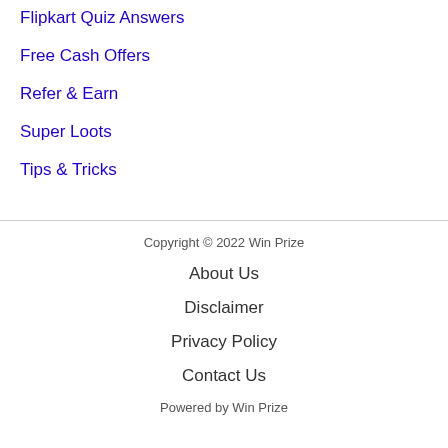Flipkart Quiz Answers
Free Cash Offers
Refer & Earn
Super Loots
Tips & Tricks
Copyright © 2022 Win Prize
About Us
Disclaimer
Privacy Policy
Contact Us
Powered by Win Prize